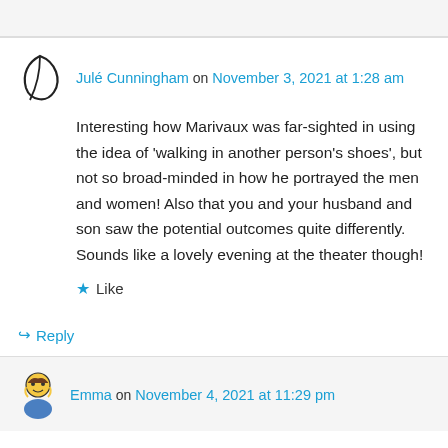Julé Cunningham on November 3, 2021 at 1:28 am
Interesting how Marivaux was far-sighted in using the idea of 'walking in another person's shoes', but not so broad-minded in how he portrayed the men and women! Also that you and your husband and son saw the potential outcomes quite differently. Sounds like a lovely evening at the theater though!
Like
Reply
Emma on November 4, 2021 at 11:29 pm